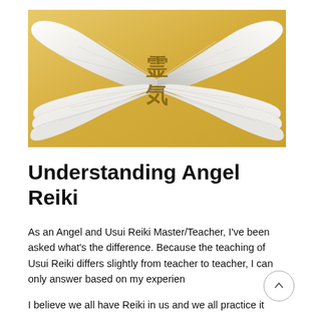[Figure (illustration): Angel wings spread wide on a golden gradient background with Japanese Reiki kanji characters in gold in the center]
Understanding Angel Reiki
As an Angel and Usui Reiki Master/Teacher, I've been asked what's the difference. Because the teaching of Usui Reiki differs slightly from teacher to teacher, I can only answer based on my experience.
I believe we all have Reiki in us and we all practice it